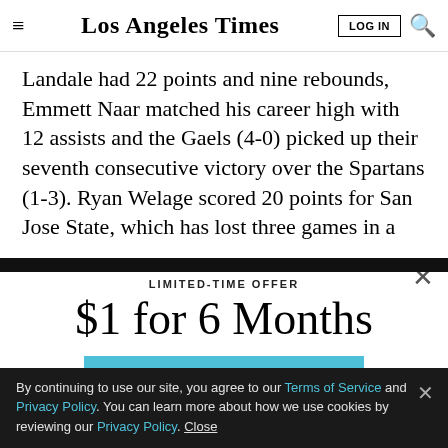Los Angeles Times
Landale had 22 points and nine rebounds, Emmett Naar matched his career high with 12 assists and the Gaels (4-0) picked up their seventh consecutive victory over the Spartans (1-3). Ryan Welage scored 20 points for San Jose State, which has lost three games in a row
LIMITED-TIME OFFER
$1 for 6 Months
SUBSCRIBE NOW
By continuing to use our site, you agree to our Terms of Service and Privacy Policy. You can learn more about how we use cookies by reviewing our Privacy Policy. Close